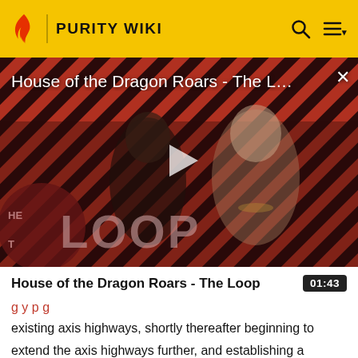PURITY WIKI
[Figure (screenshot): Video thumbnail for 'House of the Dragon Roars - The L...' showing two characters from House of the Dragon against a diagonal striped red and dark background, with 'THE LOOP' overlay text and a play button in the center. A close (X) button appears top right.]
House of the Dragon Roars - The Loop
01:43
existing axis highways, shortly thereafter beginning to extend the axis highways further, and establishing a standard of 3x3 ice highways paved with cobblestone.